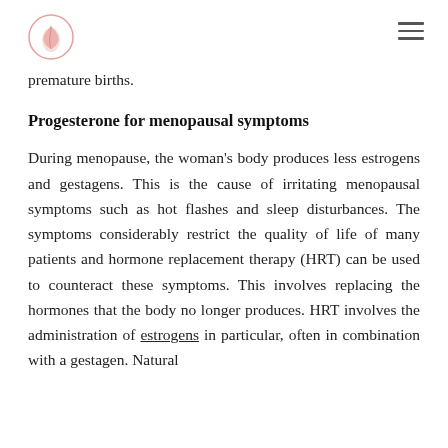[Logo] [Menu]
premature births.
Progesterone for menopausal symptoms
During menopause, the woman's body produces less estrogens and gestagens. This is the cause of irritating menopausal symptoms such as hot flashes and sleep disturbances. The symptoms considerably restrict the quality of life of many patients and hormone replacement therapy (HRT) can be used to counteract these symptoms. This involves replacing the hormones that the body no longer produces. HRT involves the administration of estrogens in particular, often in combination with a gestagen. Natural